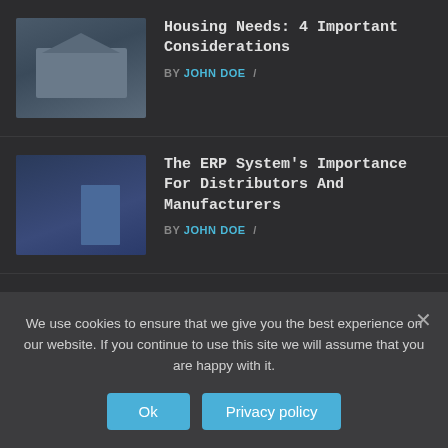[Figure (photo): Thumbnail image of a house/building]
Housing Needs: 4 Important Considerations
BY JOHN DOE /
[Figure (illustration): Thumbnail image showing people figures, ERP system illustration]
The ERP System’s Importance For Distributors And Manufacturers
BY JOHN DOE /
[Figure (photo): Thumbnail image showing digital signage / cityscape]
The Benefits Of Using Enplug’s Digital Signage Software
BY JOHN DOE /
[Figure (photo): Partial thumbnail of another article]
How To Choose An Electrical Motor…
We use cookies to ensure that we give you the best experience on our website. If you continue to use this site we will assume that you are happy with it.